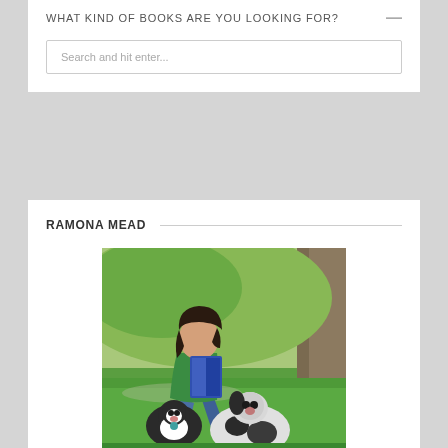WHAT KIND OF BOOKS ARE YOU LOOKING FOR?
Search and hit enter...
RAMONA MEAD
[Figure (photo): Woman with dark hair wearing a green top, sitting against a tree reading a blue book, with two black and white dogs beside her on green grass.]
My mission is to get you out of your reading comfort zone! I can